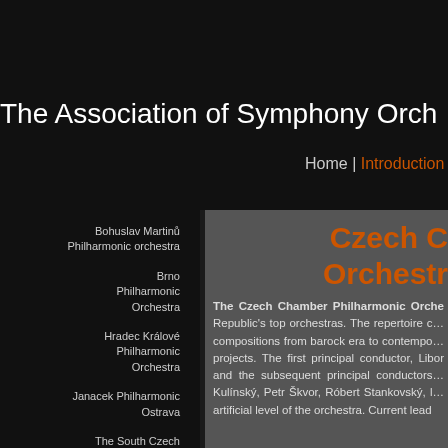The Association of Symphony Orchestras
Home | Introduction |
Bohuslav Martinů Philharmonic orchestra
Brno Philharmonic Orchestra
Hradec Králové Philharmonic Orchestra
Janacek Philharmonic Ostrava
The South Czech Philharmonic
Karlovy Vary Symphony Orchestra
Czech C… Orchestra
The Czech Chamber Philharmonic Orche… Republic's top orchestras. The repertoire c… compositions from barock era to contempo… projects. The first principal conductor, Libor… and the subsequent principal conductors… Kulínský, Petr Škvor, Róbert Stankovský, l… artificial level of the orchestra. Current lead…